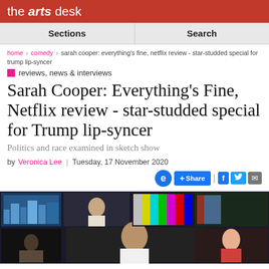the arts desk
Sections | Search
home > comedy > sarah cooper: everything's fine, netflix review - star-studded special for trump lip-syncer
reviews, news & interviews
Sarah Cooper: Everything's Fine, Netflix review - star-studded special for Trump lip-syncer
Politics and race examined in sketch show
by Veronica Lee | Tuesday, 17 November 2020
[Figure (photo): Promotional image for Sarah Cooper Everything's Fine Netflix special showing a woman in centre with multiple TV screens behind her showing various scenes and people]